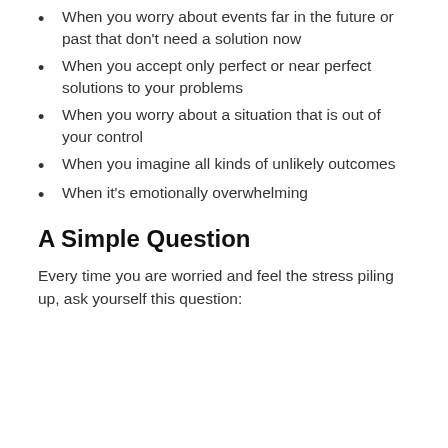When you worry about events far in the future or past that don't need a solution now
When you accept only perfect or near perfect solutions to your problems
When you worry about a situation that is out of your control
When you imagine all kinds of unlikely outcomes
When it's emotionally overwhelming
A Simple Question
Every time you are worried and feel the stress piling up, ask yourself this question: